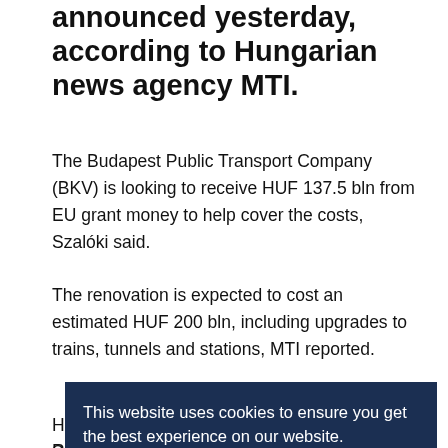announced yesterday, according to Hungarian news agency MTI.
The Budapest Public Transport Company (BKV) is looking to receive HUF 137.5 bln from EU grant money to help cover the costs, Szalóki said.
The renovation is expected to cost an estimated HUF 200 bln, including upgrades to trains, tunnels and stations, MTI reported.
H... S... re... s...
[Figure (screenshot): Cookie consent banner overlay with dark navy background. Text reads: 'This website uses cookies to ensure you get the best experience on our website.' with a 'Learn more' link and two buttons: 'Decline' and 'Allow cookies'.]
Reconstruction and Development, and it provides